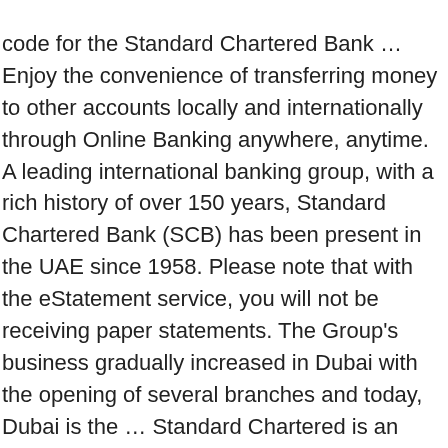code for the Standard Chartered Bank … Enjoy the convenience of transferring money to other accounts locally and internationally through Online Banking anywhere, anytime. A leading international banking group, with a rich history of over 150 years, Standard Chartered Bank (SCB) has been present in the UAE since 1958. Please note that with the eStatement service, you will not be receiving paper statements. The Group's business gradually increased in Dubai with the opening of several branches and today, Dubai is the … Standard Chartered is an international bank, focused on the established and emerging markets of Asia, Africa, the Middle East and Latin America with an extensive global network of more than 600 offices in … Bank with us from the comfort of your own home and take advantage of our wide